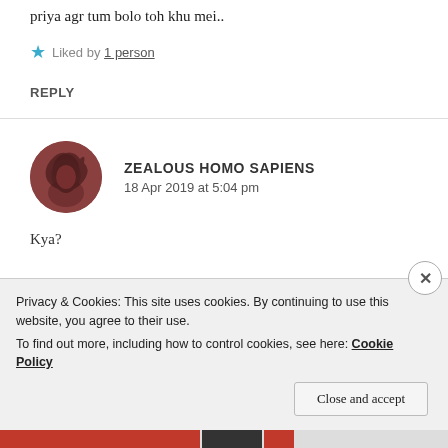priya agr tum bolo toh khu mei..
★ Liked by 1 person
REPLY
ZEALOUS HOMO SAPIENS
18 Apr 2019 at 5:04 pm
Kya?
Privacy & Cookies: This site uses cookies. By continuing to use this website, you agree to their use.
To find out more, including how to control cookies, see here: Cookie Policy
Close and accept